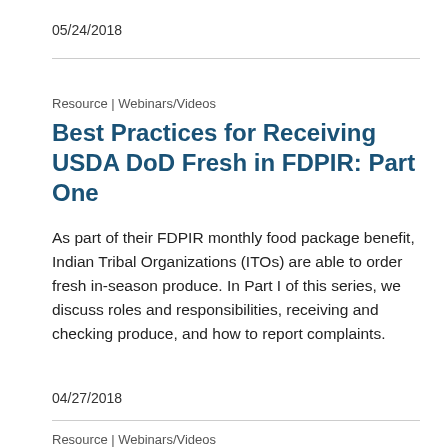05/24/2018
Resource | Webinars/Videos
Best Practices for Receiving USDA DoD Fresh in FDPIR: Part One
As part of their FDPIR monthly food package benefit, Indian Tribal Organizations (ITOs) are able to order fresh in-season produce. In Part I of this series, we discuss roles and responsibilities, receiving and checking produce, and how to report complaints.
04/27/2018
Resource | Webinars/Videos